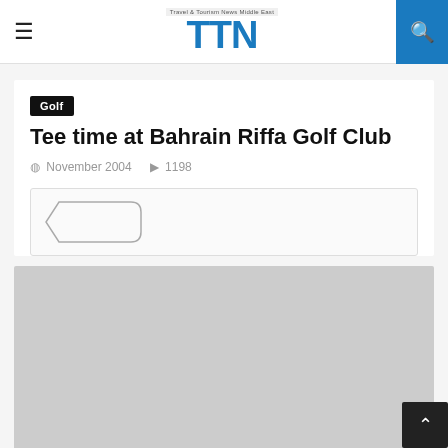TTN — Travel & Tourism News Middle East
Golf
Tee time at Bahrain Riffa Golf Club
November 2004   1198
[Figure (other): Advertisement placeholder banner with tag shape outline]
[Figure (photo): Article image placeholder (gray box)]